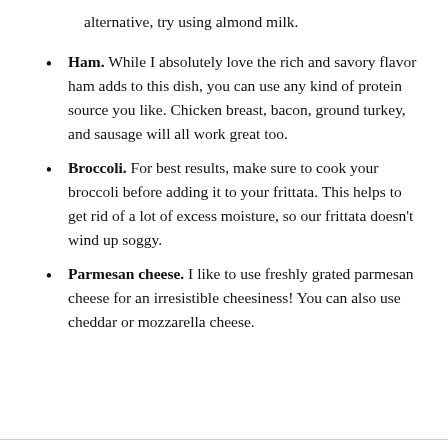alternative, try using almond milk.
Ham. While I absolutely love the rich and savory flavor ham adds to this dish, you can use any kind of protein source you like. Chicken breast, bacon, ground turkey, and sausage will all work great too.
Broccoli. For best results, make sure to cook your broccoli before adding it to your frittata. This helps to get rid of a lot of excess moisture, so our frittata doesn't wind up soggy.
Parmesan cheese. I like to use freshly grated parmesan cheese for an irresistible cheesiness! You can also use cheddar or mozzarella cheese.